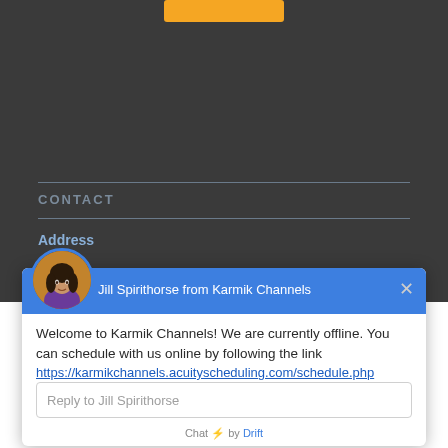[Figure (screenshot): Dark background website section showing a Contact header with horizontal divider lines and an Address subheading]
CONTACT
Address
[Figure (screenshot): Drift chat widget popup with Jill Spirithorse avatar from Karmik Channels, showing offline message with scheduling link, reply input box, and Chat by Drift footer]
Jill Spirithorse from Karmik Channels
Welcome to Karmik Channels! We are currently offline. You can schedule with us online by following the link https://karmikchannels.acuityscheduling.com/schedule.php
Reply to Jill Spirithorse
Chat ⚡ by Drift